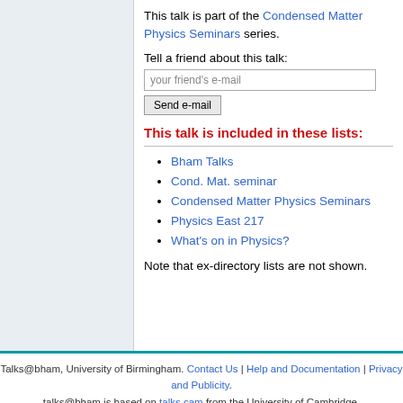This talk is part of the Condensed Matter Physics Seminars series.
Tell a friend about this talk:
your friend's e-mail
Send e-mail
This talk is included in these lists:
Bham Talks
Cond. Mat. seminar
Condensed Matter Physics Seminars
Physics East 217
What's on in Physics?
Note that ex-directory lists are not shown.
Talks@bham, University of Birmingham. Contact Us | Help and Documentation | Privacy and Publicity. talks@bham is based on talks.cam from the University of Cambridge.